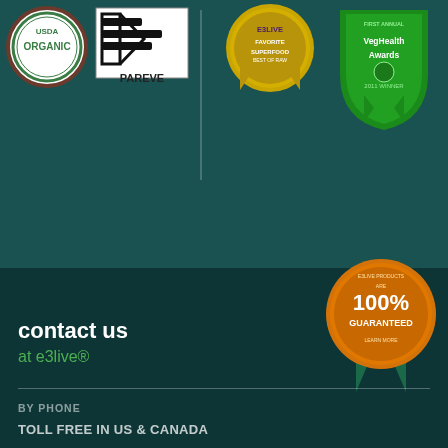[Figure (logo): USDA Organic circular badge with green border and brown ring]
[Figure (logo): KS Pareve kosher certification logo with wavy lines]
[Figure (logo): E3LIVE Favorite Superfood Best of Raw award gold medal badge]
[Figure (logo): First Annual VegHealth Awards 2011 Winner green shield badge]
[Figure (logo): E3LIVE Products 100% Guaranteed orange circle badge with green ribbon]
contact us
at e3live®
BY PHONE
TOLL FREE IN US & CANADA